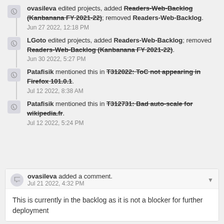ovasileva edited projects, added Readers-Web-Backlog (Kanbanana FY 2021-22); removed Readers-Web-Backlog. Jun 27 2022, 12:18 PM
LGoto edited projects, added Readers-Web-Backlog; removed Readers-Web-Backlog (Kanbanana FY 2021-22). Jun 30 2022, 5:27 PM
Patafisik mentioned this in T312022: ToC not appearing in Firefox 101.0.1. Jul 12 2022, 8:38 AM
Patafisik mentioned this in T312731: Bad auto-scale for wikipedia.fr. Jul 12 2022, 5:24 PM
ovasileva added a comment. Jul 21 2022, 4:32 PM
This is currently in the backlog as it is not a blocker for further deployment